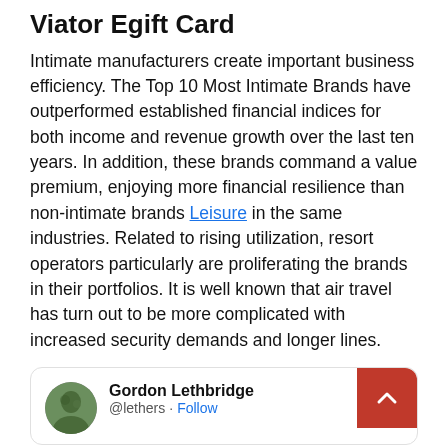Viator Egift Card
Intimate manufacturers create important business efficiency. The Top 10 Most Intimate Brands have outperformed established financial indices for both income and revenue growth over the last ten years. In addition, these brands command a value premium, enjoying more financial resilience than non-intimate brands Leisure in the same industries. Related to rising utilization, resort operators particularly are proliferating the brands in their portfolios. It is well known that air travel has turn out to be more complicated with increased security demands and longer lines.
Gordon Lethbridge @lethers · Follow